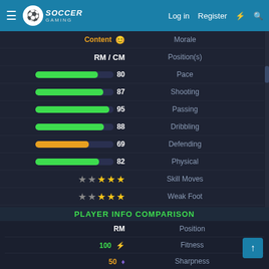Soccer Gaming — Log in | Register
| Value / Bar | Attribute |
| --- | --- |
| Content 😊 | Morale |
| RM / CM | Position(s) |
| 80 | Pace |
| 87 | Shooting |
| 95 | Passing |
| 88 | Dribbling |
| 69 | Defending |
| 82 | Physical |
| ★★★★ (3 gold, 2 grey) Skill Moves | Skill Moves |
| ★★★★ (3 gold, 2 grey) Weak Foot | Weak Foot |
| Right | Foot |
[Figure (radar-chart): Radar chart for Beckham showing Pace, Shooting, Passing, Dribbling, Defending, Physical attributes]
Beckham — 89 RM
PLAYER INFO COMPARISON
| Value | Attribute |
| --- | --- |
| RM | Position |
| 100 ⚡ | Fitness |
| 50 ♦ | Sharpness |